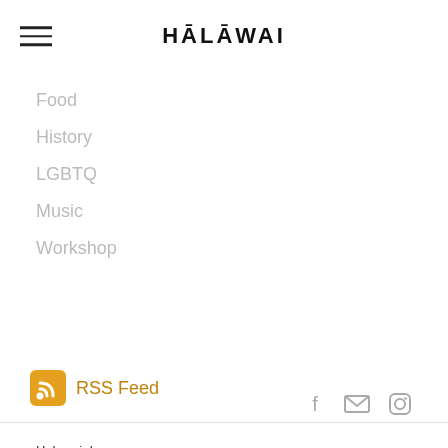HĀLĀWAI
Food
History
LGBTQ
Music
Workshop
RSS Feed
Halawai, Inc
P.O. Box 250189
New York, NY 10025-9991